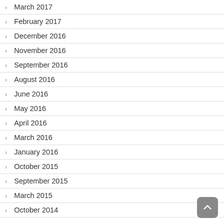March 2017
February 2017
December 2016
November 2016
September 2016
August 2016
June 2016
May 2016
April 2016
March 2016
January 2016
October 2015
September 2015
March 2015
October 2014